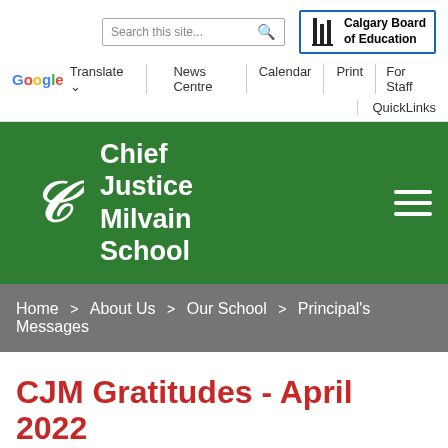Search this site... [search icon] | Calgary Board of Education logo
Google Translate | News Centre | Calendar | Print | For Staff | QuickLinks
[Figure (logo): Chief Justice Milvain School logo with decorative emblem on green background with hamburger menu icon]
Home > About Us > Our School > Principal's Messages
CJM Gratitudes - April 2022
Wednesday, March 30, 2022
As part of our lives, families are our...